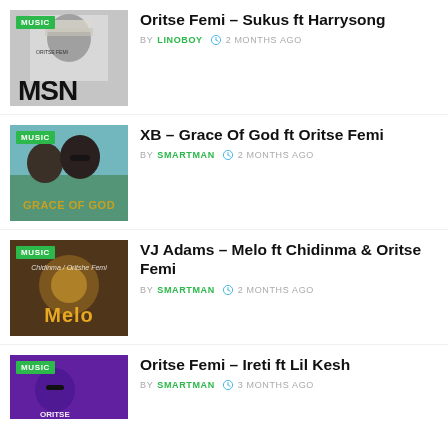Oritse Femi – Sukus ft Harrysong
XB – Grace Of God ft Oritse Femi
VJ Adams – Melo ft Chidinma & Oritse Femi
Oritse Femi – Ireti ft Lil Kesh